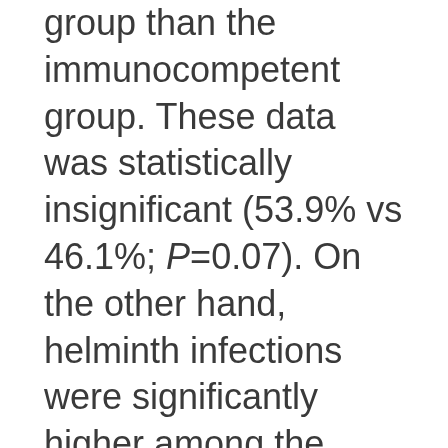group than the immunocompetent group. These data was statistically insignificant (53.9% vs 46.1%; P=0.07). On the other hand, helminth infections were significantly higher among the immunosuppressed group than the immunocompetent group (73.3% vs 26.7%; P=0.0001). Among different